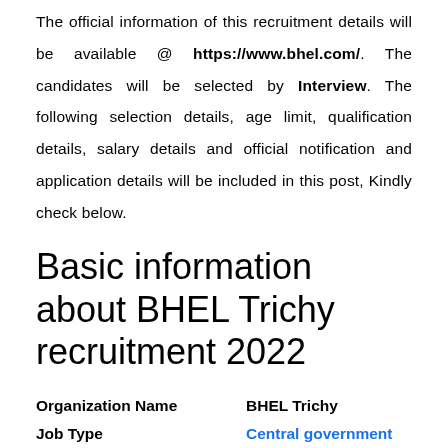The official information of this recruitment details will be available @ https://www.bhel.com/. The candidates will be selected by Interview. The following selection details, age limit, qualification details, salary details and official notification and application details will be included in this post, Kindly check below.
Basic information about BHEL Trichy recruitment 2022
| Field | Value |
| --- | --- |
| Organization Name | BHEL Trichy |
| Job Type | Central government |
| Total Vacancy | 11 |